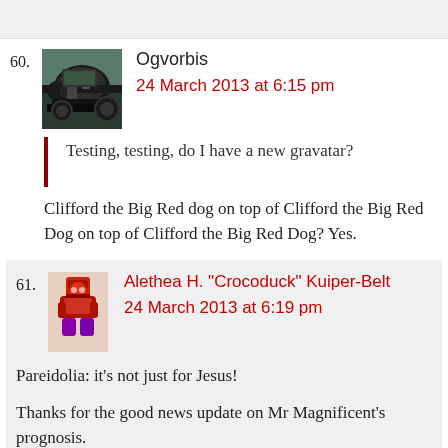60.
[Figure (photo): Avatar image of a steam locomotive (train)]
Ogvorbis
24 March 2013 at 6:15 pm
Testing, testing, do I have a new gravatar?
Clifford the Big Red dog on top of Clifford the Big Red Dog on top of Clifford the Big Red Dog? Yes.
61.
[Figure (photo): Avatar image of a colorful totem-like figure in red and purple tones]
Alethea H. "Crocoduck" Kuiper-Belt
24 March 2013 at 6:19 pm
Pareidolia: it’s not just for Jesus!
Thanks for the good news update on Mr Magnificent’s prognosis.
62.
[Figure (photo): Partial avatar image of a steam locomotive (same as comment 60)]
Ogvorbis